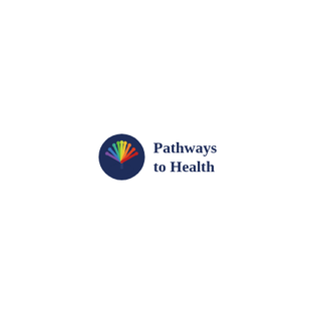[Figure (logo): Pathways to Health logo: a circular dark navy blue emblem containing a colorful stylized tree with multicolored radiating leaf/feather shapes (red, orange, yellow, green, teal, blue, purple) above a dark blue semicircle base, accompanied by the bold dark navy text 'Pathways to Health' in two lines to the right.]